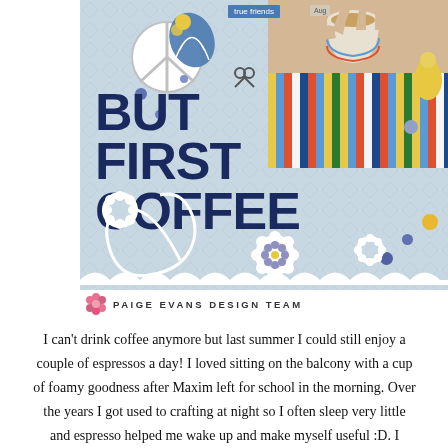[Figure (photo): Scrapbook layout page with a light blue background featuring large navy blue text 'BUT FIRST COFFEE', a peace sign decoration, floral doily cutouts, decorative dots, and a photo collage in the upper right showing a hand holding a coffee cup with colorful striped fabric. A 'true friends' tag label is visible. Attributed to Paige Evans Design Team.]
PAIGE EVANS DESIGN TEAM
I can't drink coffee anymore but last summer I could still enjoy a couple of espressos a day! I loved sitting on the balcony with a cup of foamy goodness after Maxim left for school in the morning. Over the years I got used to crafting at night so I often sleep very little and espresso helped me wake up and make myself useful :D. I picked out the cut file first, it's totally random, nothing to do with the layout, but I